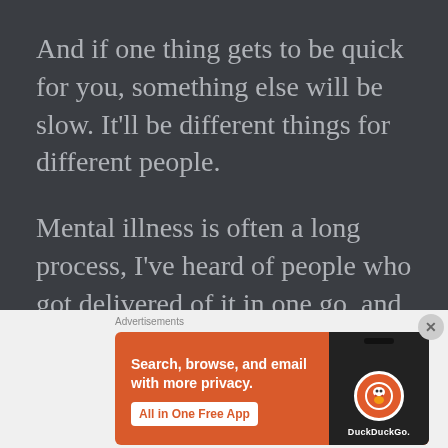And if one thing gets to be quick for you, something else will be slow. It'll be different things for different people.
Mental illness is often a long process, I've heard of people who got delivered of it in one go, and that's great for
[Figure (screenshot): DuckDuckGo advertisement banner: orange background with white text 'Search, browse, and email with more privacy.' and 'All in One Free App' button, alongside a phone mockup showing the DuckDuckGo app logo]